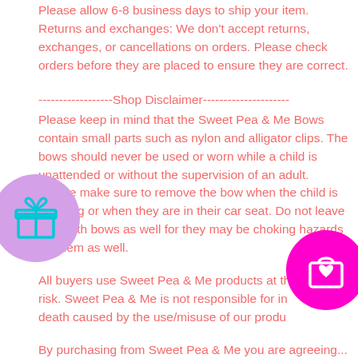Please allow 6-8 business days to ship your item. Returns and exchanges: We don't accept returns, exchanges, or cancellations on orders. Please check orders before they are placed to ensure they are correct.
------------------Shop Disclaimer---------------------
Please keep in mind that the Sweet Pea & Me Bows contain small parts such as nylon and alligator clips. The bows should never be used or worn while a child is unattended or without the supervision of an adult. Please make sure to remove the bow when the child is sleeping or when they are in their car seat. Do not leave pets with bows as well for they may be choking hazards for them as well.
All buyers use Sweet Pea & Me products at their own risk. Sweet Pea & Me is not responsible for injury or death caused by the use/misuse of our products.
By purchasing from Sweet Pea & Me you are agreeing...